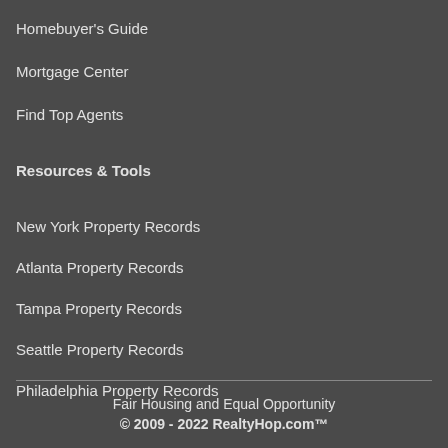Homebuyer's Guide
Mortgage Center
Find Top Agents
Resources & Tools
New York Property Records
Atlanta Property Records
Tampa Property Records
Seattle Property Records
Philadelphia Property Records
Fair Housing and Equal Opportunity
© 2009 - 2022 RealtyHop.com™